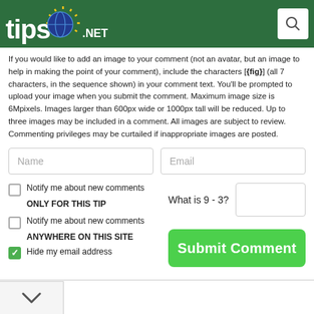[Figure (logo): tips.net logo with globe icon on dark green header bar, with search icon in top right]
If you would like to add an image to your comment (not an avatar, but an image to help in making the point of your comment), include the characters [{fig}] (all 7 characters, in the sequence shown) in your comment text. You'll be prompted to upload your image when you submit the comment. Maximum image size is 6Mpixels. Images larger than 600px wide or 1000px tall will be reduced. Up to three images may be included in a comment. All images are subject to review. Commenting privileges may be curtailed if inappropriate images are posted.
[Figure (screenshot): Web form with Name and Email input fields, checkboxes for notifications, CAPTCHA question 'What is 9 - 3?', and a green Submit Comment button]